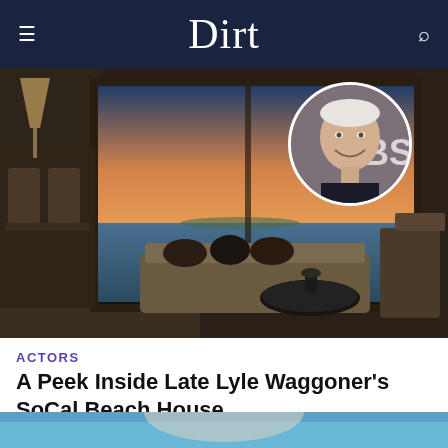Dirt
[Figure (photo): Interior of a modern beach house living room with large panoramic windows showing ocean and sunset. A circular inset portrait photo shows an elderly man (Lyle Waggoner) smiling, with 'BS' visible in background.]
ACTORS
A Peek Inside Late Lyle Waggoner's SoCal Beach House
JUL 14, 2020 12:54 PM PT
[Figure (photo): Bottom strip showing partial image, appears to be a person outdoors.]